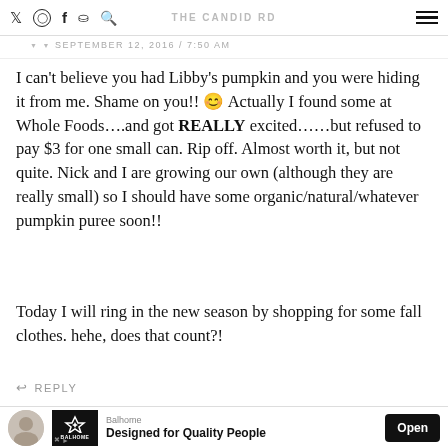THE CANDID RD — social icons and hamburger menu
SEPTEMBER 12, 2016 / 7:50 AM
I can't believe you had Libby's pumpkin and you were hiding it from me. Shame on you!! 🙂 Actually I found some at Whole Foods….and got REALLY excited……but refused to pay $3 for one small can. Rip off. Almost worth it, but not quite. Nick and I are growing our own (although they are really small) so I should have some organic/natural/whatever pumpkin puree soon!!
Today I will ring in the new season by shopping for some fall clothes. hehe, does that count?!
↩ REPLY
[Figure (infographic): Advertisement bar: avatar photo on left, Balhome logo box with 'Designed for Quality People' tagline, and Open button on right]